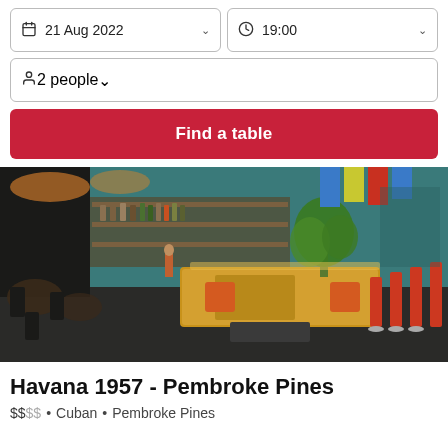21 Aug 2022
19:00
2 people
Find a table
[Figure (photo): Interior of Havana 1957 restaurant in Pembroke Pines showing a vibrant Cuban-themed bar and dining area with colorful decor, bar stools, tropical plants, and warm lighting.]
Havana 1957 - Pembroke Pines
$$SS • Cuban • Pembroke Pines